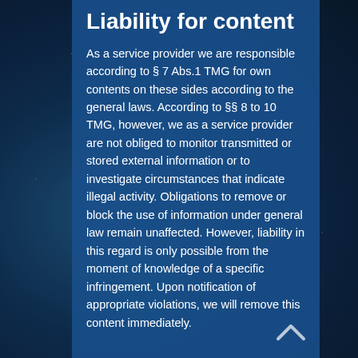Liability for content
As a service provider we are responsible according to § 7 Abs.1 TMG for own contents on these sides according to the general laws. According to §§ 8 to 10 TMG, however, we as a service provider are not obliged to monitor transmitted or stored external information or to investigate circumstances that indicate illegal activity. Obligations to remove or block the use of information under general law remain unaffected. However, liability in this regard is only possible from the moment of knowledge of a specific infringement. Upon notification of appropriate violations, we will remove this content immediately.